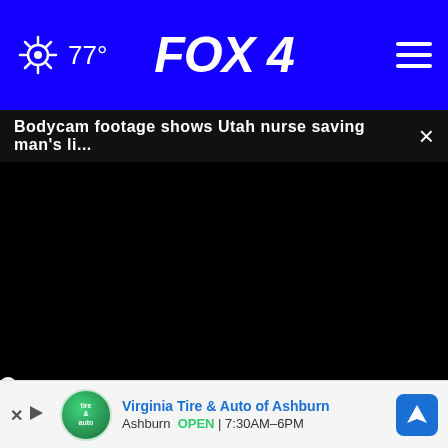77° FOX 4
Bodycam footage shows Utah nurse saving man's li... ×
[Figure (screenshot): Black video player screen with scrubber bar at 0:00, play button, mute button, and fullscreen controls]
[Figure (photo): Bottom left: dark background with partial text 'MI...' and 'yea...' in white bold text; Bottom right: pink floral background with 'Most popular' text]
Virginia Tire & Auto of Ashburn
Ashburn OPEN 7:30AM–6PM